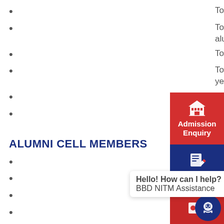To prepare database of our alumni for networking.
To manage web portals and social media handles for alumni cell.
To establishes alumni chapters.
To establish the network with alumni passing out every year.
To organize the alumni meet & Interaction S…
Adopt the core values of excellence, lifelong relationships, lifelong learning, Advocacy
ALUMNI CELL MEMBERS
Dr . S.H. Abdi ,Head , Alumni Cell , BBDITM
Shivam Dixit, Coordinator, Alumni Cell, BBDI…
Ramesh Vaish, Coordinator – Dept of CSE
Amit Verma , Coordinator – Dept of CE
Adesh Mishra, Coordinator – Dept of EE
Aproov Srivastava, Coordinator…
Kalyan Awasthi, Co…
Girjesh Mishra, Coordinator – Dept of IT
[Figure (infographic): Admission Enquiry red panel with building icon]
[Figure (infographic): Register Online navy panel with edit icon]
[Figure (infographic): Chat bubble: Hello! How can I help? BBD NITM Assistance with robot icon]